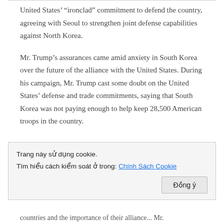United States’ “ironclad” commitment to defend the country, agreeing with Seoul to strengthen joint defense capabilities against North Korea.
Mr. Trump’s assurances came amid anxiety in South Korea over the future of the alliance with the United States. During his campaign, Mr. Trump cast some doubt on the United States’ defense and trade commitments, saying that South Korea was not paying enough to help keep 28,500 American troops in the country.
Trang này sử dụng cookie.
Tìm hiểu cách kiểm soát ở trong: Chính Sách Cookie
countries and the importance of their alliance... Mr.